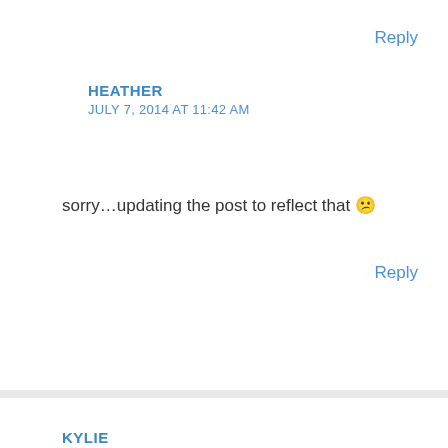Reply
HEATHER
JULY 7, 2014 AT 11:42 AM
sorry…updating the post to reflect that 😕
Reply
KYLIE
JULY 7, 2014 AT 1:35 PM